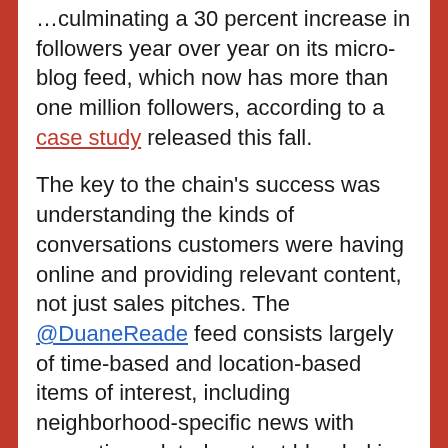…culminating a 30 percent increase in followers year over year on its micro-blog feed, which now has more than one million followers, according to a case study released this fall.
The key to the chain's success was understanding the kinds of conversations customers were having online and providing relevant content, not just sales pitches. The @DuaneReade feed consists largely of time-based and location-based items of interest, including neighborhood-specific news with promotion-related content blended in.
Duane Reade is also using other strategies, including promotions that encourage sharing a post to unlock a specific discount, and that sends offers only available to followers or at specific stores. Most social media platforms also